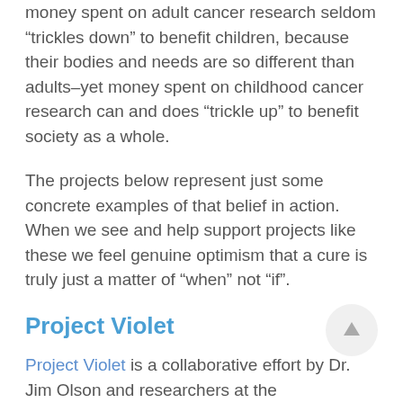money spent on adult cancer research seldom “trickles down” to benefit children, because their bodies and needs are so different than adults–yet money spent on childhood cancer research can and does “trickle up” to benefit society as a whole.
The projects below represent just some concrete examples of that belief in action. When we see and help support projects like these we feel genuine optimism that a cure is truly just a matter of “when” not “if”.
Project Violet
Project Violet is a collaborative effort by Dr. Jim Olson and researchers at the